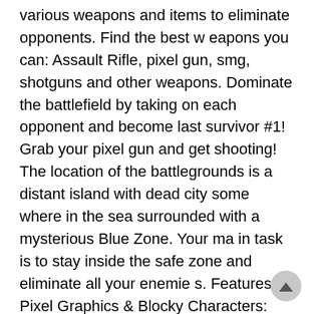various weapons and items to eliminate opponents. Find the best weapons you can: Assault Rifle, pixel gun, smg, shotguns and other weapons. Dominate the battlefield by taking on each opponent and become last survivor #1! Grab your pixel gun and get shooting! The location of the battlegrounds is a distant island with dead city somewhere in the sea surrounded with a mysterious Blue Zone. Your main task is to stay inside the safe zone and eliminate all your enemies. Features: • Pixel Graphics & Blocky Characters: Battle as hilarious blocky characters and show your style of gameplay.• Survive gun games against other players!• Battle in Online Multiplayer Games: Intense PVP gameplay against players around the world!• Guns will randomly appear, so search the ground thoroughly! Survive by collecting more guns so you have an advantage over other players. • Just like in true 3D block survival games, you can purchase any pixel block strike skins.• Grab a pixel gun and dive into battle: Fun pixel graphics great for intense shooting battles!• Big radiation island this is the place where you have to survive while you playing in the